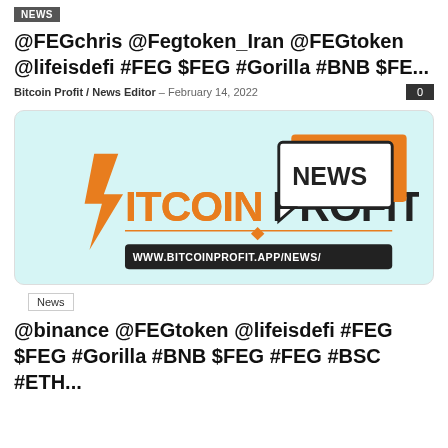NEWS
@FEGchris @Fegtoken_Iran @FEGtoken @lifeisdefi #FEG $FEG #Gorilla #BNB $FE...
Bitcoin Profit / News Editor - February 14, 2022
[Figure (logo): Bitcoin Profit news logo on light blue background with NEWS speech bubble and URL www.bitcoinprofit.app/news/]
News
@binance @FEGtoken @lifeisdefi #FEG $FEG #Gorilla #BNB $FEG #FEG #BSC #ETH...